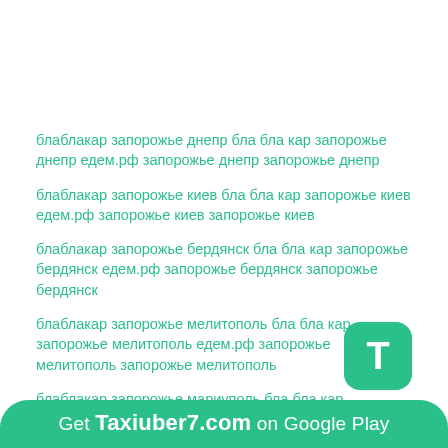блаблакар запорожье днепр бла бла кар запорожье днепр едем.рф запорожье днепр запорожье днепр
блаблакар запорожье киев бла бла кар запорожье киев едем.рф запорожье киев запорожье киев
блаблакар запорожье бердянск бла бла кар запорожье бердянск едем.рф запорожье бердянск запорожье бердянск
блаблакар запорожье мелитополь бла бла кар запорожье мелитополь едем.рф запорожье мелитополь запорожье мелитополь
блаблакар запорожье мариуполь бла бла кар запорожье мариуполь едем.рф запорожье мариуполь запорожье мариуполь
блаблакар запорожье харковь бла бла кар запорожье харковь едем.рф запорожье харковь запорожье харковь
блаблакар запорожье одесса едем.рф запорожье одесса запорожье одесса
[Figure (other): Get Taxiuber7.com on Google Play banner with T badge]